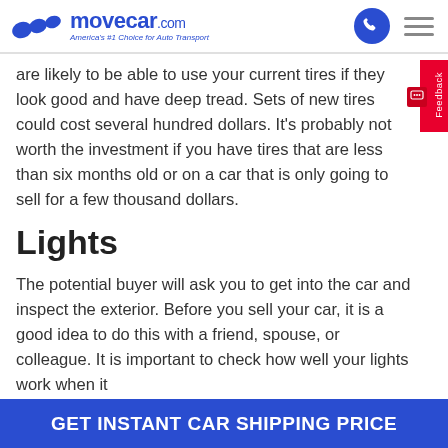movecar.com — America's #1 Choice for Auto Transport
are likely to be able to use your current tires if they look good and have deep tread. Sets of new tires could cost several hundred dollars. It's probably not worth the investment if you have tires that are less than six months old or on a car that is only going to sell for a few thousand dollars.
Lights
The potential buyer will ask you to get into the car and inspect the exterior. Before you sell your car, it is a good idea to do this with a friend, spouse, or colleague. It is important to check how well your lights work when it
GET INSTANT CAR SHIPPING PRICE